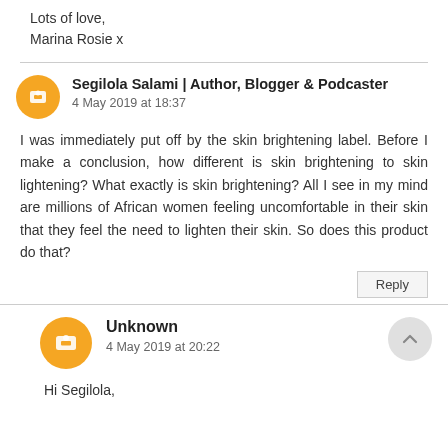Lots of love,
Marina Rosie x
Segilola Salami | Author, Blogger & Podcaster
4 May 2019 at 18:37

I was immediately put off by the skin brightening label. Before I make a conclusion, how different is skin brightening to skin lightening? What exactly is skin brightening? All I see in my mind are millions of African women feeling uncomfortable in their skin that they feel the need to lighten their skin. So does this product do that?
Unknown
4 May 2019 at 20:22

Hi Segilola,